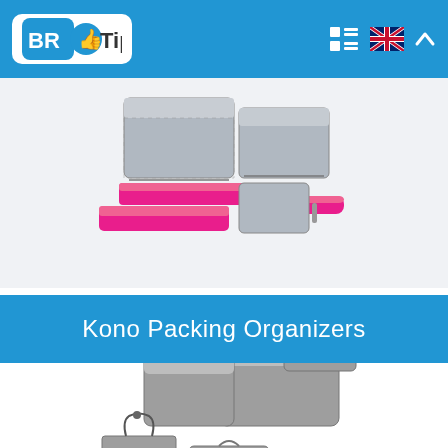BR Tips
[Figure (photo): Pink and grey packing cubes/organizers set partially visible at top of page]
Kono Packing Organizers
[Figure (photo): Set of grey Kono packing organizers including cubes, pouches, and bags arranged on white background]